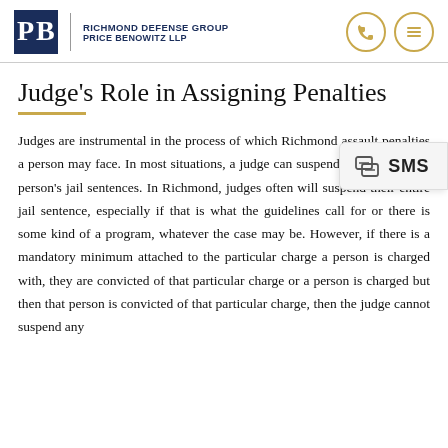Richmond Defense Group Price Benowitz LLP
Judge's Role in Assigning Penalties
Judges are instrumental in the process of which Richmond assault penalties a person may face. In most situations, a judge can suspend some or all of a person's jail sentences. In Richmond, judges often will suspend their entire jail sentence, especially if that is what the guidelines call for or there is some kind of a program, whatever the case may be. However, if there is a mandatory minimum attached to the particular charge a person is charged with, they are convicted of that particular charge or a person is charged but then that person is convicted of that particular charge, then the judge cannot suspend any